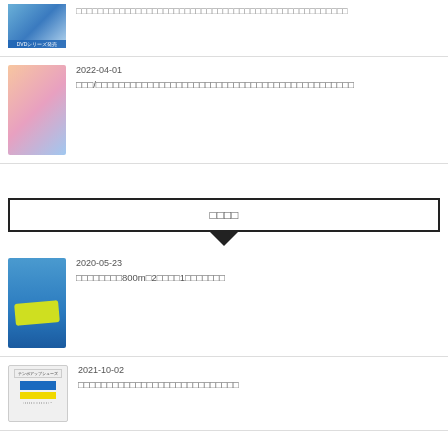□□□□□□□□□□□□□□□□□□□□□□□□□□□□□□□□□□□□□□□□□□□□□□□□□□
2022-04-01
□□□/□□□□□□□□□□□□□□□□□□□□□□□□□□□□□□□□□□□□□□□□□□□□□
□□□□
2020-05-23
□□□□□□□□800m□2□□□□1□□□□□□□
2021-10-02
□□□□□□□□□□□□□□□□□□□□□□□□□□□□